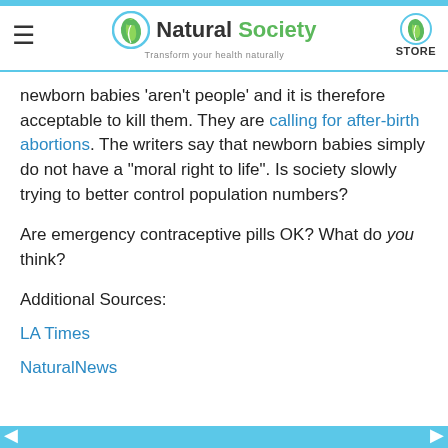Natural Society — Transform your health naturally | STORE
newborn babies ‘aren’t people’ and it is therefore acceptable to kill them. They are calling for after-birth abortions. The writers say that newborn babies simply do not have a “moral right to life”. Is society slowly trying to better control population numbers?
Are emergency contraceptive pills OK? What do you think?
Additional Sources:
LA Times
NaturalNews